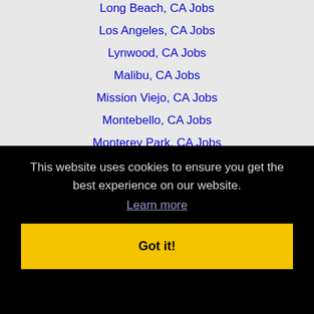Long Beach, CA Jobs
Los Angeles, CA Jobs
Lynwood, CA Jobs
Malibu, CA Jobs
Mission Viejo, CA Jobs
Montebello, CA Jobs
Monterey Park, CA Jobs
Moreno Valley, CA Jobs
Murrieta, CA Jobs
Newport Beach, CA Jobs
This website uses cookies to ensure you get the best experience on our website.
Learn more
Got it!
Perris, CA Jobs